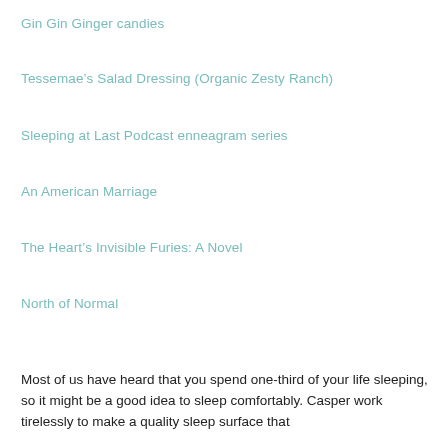Gin Gin Ginger candies
Tessemae’s Salad Dressing (Organic Zesty Ranch)
Sleeping at Last Podcast enneagram series
An American Marriage
The Heart’s Invisible Furies: A Novel
North of Normal
Most of us have heard that you spend one-third of your life sleeping, so it might be a good idea to sleep comfortably. Casper work tirelessly to make a quality sleep surface that